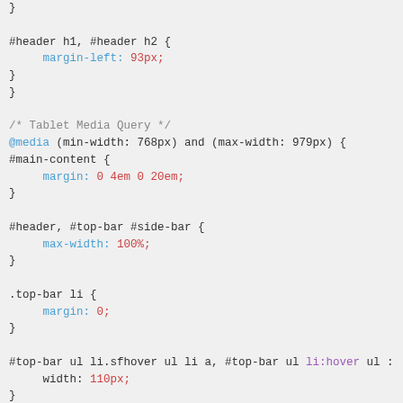CSS code snippet showing media queries and selectors including #header h1, #header h2, Tablet Media Query @media, #main-content, #header #top-bar #side-bar, .top-bar li, #top-bar ul li.sfhover, .page-options-bottom a, #header h1 a, .license-area rules